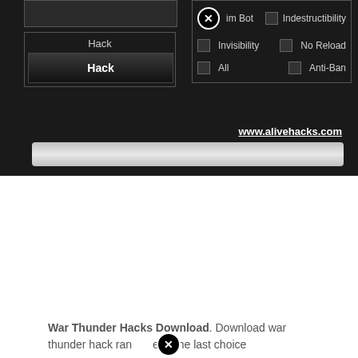[Figure (screenshot): Dark-themed hacking tool UI with left panel containing input box and Hack buttons, right panel with checkboxes: Aim Bot, Indestructibility, Invisibility, No Reload, All, Anti-Ban, and a progress bar at the bottom. URL www.alivehacks.com displayed.]
www.alivehacks.com
HACKED
War Thunder Hacks Download
ON JULY 9, 2021 BY
War Thunder Hacks Download. Download war thunder hack range3. The last choice